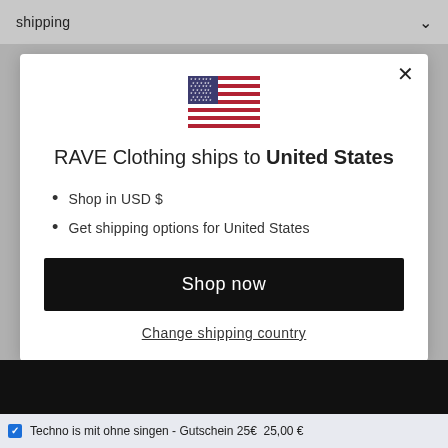shipping
[Figure (illustration): US flag emoji / icon centered in modal]
RAVE Clothing ships to United States
Shop in USD $
Get shipping options for United States
Shop now
Change shipping country
Techno is mit ohne singen - Gutschein 25€  25,00 €